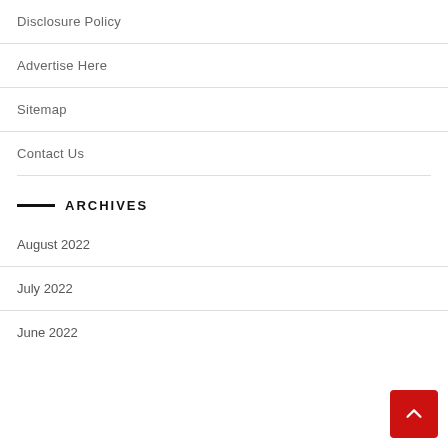Disclosure Policy
Advertise Here
Sitemap
Contact Us
ARCHIVES
August 2022
July 2022
June 2022